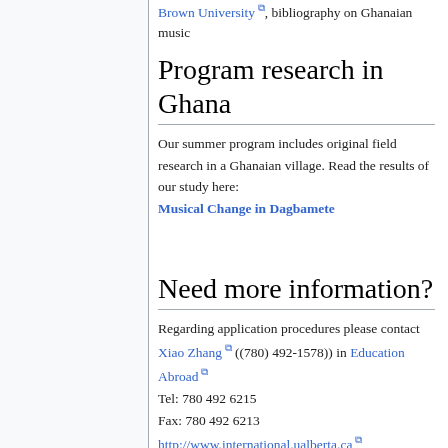Brown University, bibliography on Ghanaian music
Program research in Ghana
Our summer program includes original field research in a Ghanaian village. Read the results of our study here: Musical Change in Dagbamete
Need more information?
Regarding application procedures please contact Xiao Zhang ((780) 492-1578)) in Education Abroad
Tel: 780 492 6215
Fax: 780 492 6213
http://www.international.ualberta.ca